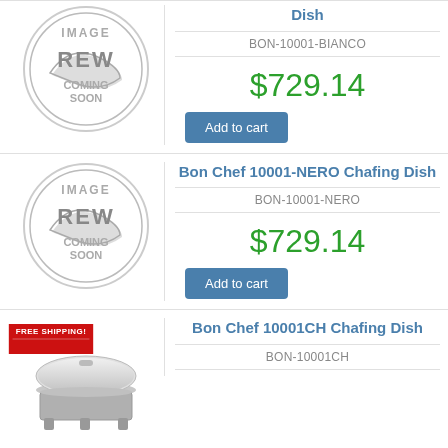[Figure (photo): REW Coming Soon placeholder circle image for Bon Chef 10001-BIANCO Chafing Dish]
Bon Chef 10001-BIANCO Chafing Dish
BON-10001-BIANCO
$729.14
[Figure (photo): REW Coming Soon placeholder circle image for Bon Chef 10001-NERO Chafing Dish]
Bon Chef 10001-NERO Chafing Dish
BON-10001-NERO
$729.14
[Figure (photo): Photo of stainless chafing dish with FREE SHIPPING badge for Bon Chef 10001CH]
Bon Chef 10001CH Chafing Dish
BON-10001CH